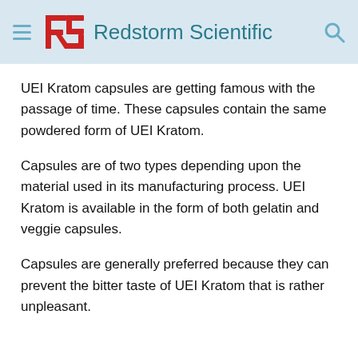Redstorm Scientific
UEI Kratom capsules are getting famous with the passage of time. These capsules contain the same powdered form of UEI Kratom.
Capsules are of two types depending upon the material used in its manufacturing process. UEI Kratom is available in the form of both gelatin and veggie capsules.
Capsules are generally preferred because they can prevent the bitter taste of UEI Kratom that is rather unpleasant.